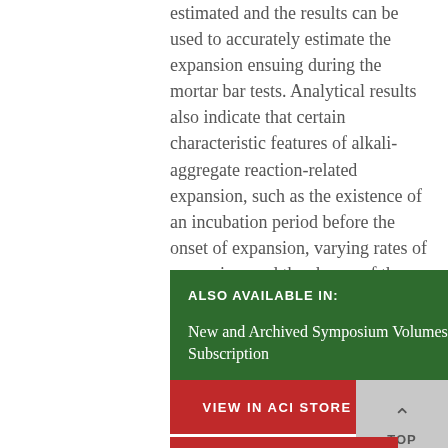estimated and the results can be used to accurately estimate the expansion ensuing during the mortar bar tests. Analytical results also indicate that certain characteristic features of alkali-aggregate reaction-related expansion, such as the existence of an incubation period before the onset of expansion, varying rates of expansion, and the shapes of the expansion-time curves, can be explained using the model proposed by the authors.
ALSO AVAILABLE IN:
New and Archived Symposium Volumes - Digital Subscription
VIEW IN ACI STORE »
TOP